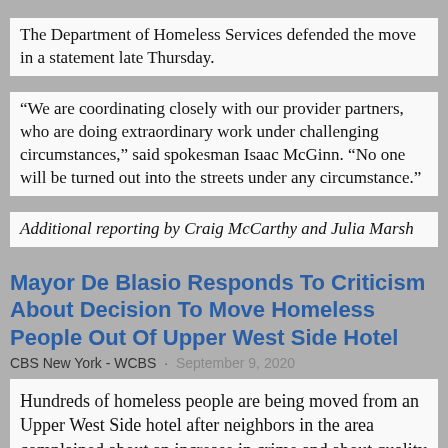The Department of Homeless Services defended the move in a statement late Thursday.
“We are coordinating closely with our provider partners, who are doing extraordinary work under challenging circumstances,” said spokesman Isaac McGinn. “No one will be turned out into the streets under any circumstance.”
Additional reporting by Craig McCarthy and Julia Marsh
Mayor De Blasio Responds To Criticism About Decision To Move Homeless People Out Of Upper West Side Hotel
CBS New York - WCBS · September 9, 2020
Hundreds of homeless people are being moved from an Upper West Side hotel after neighbors in the area complained about an increase in crime and about quality of life issues. Mayor de Blasio is responding to criticism